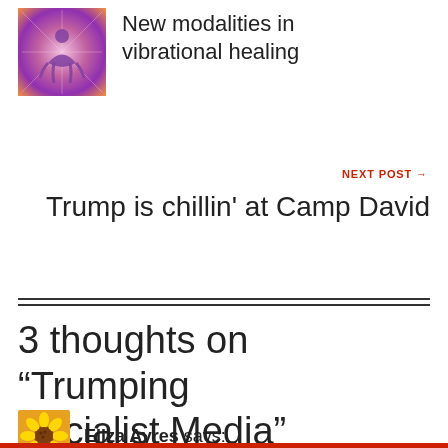[Figure (photo): Thumbnail image of a meditating figure with colorful vibrational/spiritual background in pink, purple and orange hues]
New modalities in vibrational healing
NEXT POST →
Trump is chillin' at Camp David
3 thoughts on “Trumping Socialist Media”
[Figure (photo): Small circular avatar of a sunflower image for commenter Eliza Ayres]
Eliza Ayres says: